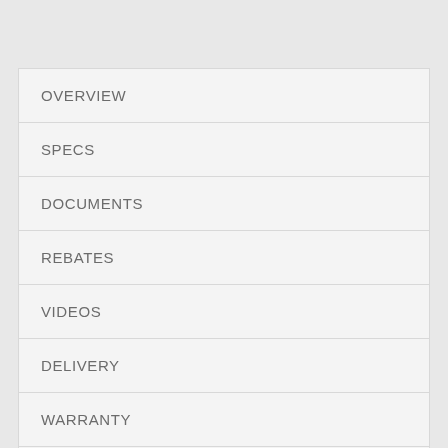OVERVIEW
SPECS
DOCUMENTS
REBATES
VIDEOS
DELIVERY
WARRANTY
REVIEWS (2050)